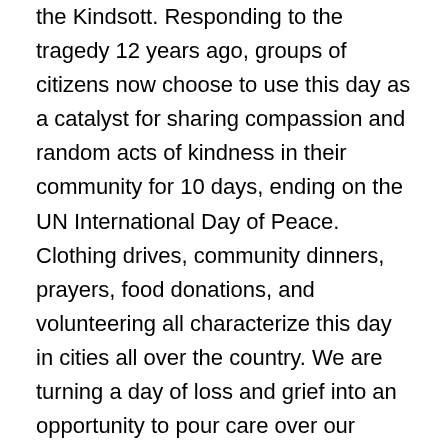the Kindsott.  Responding to the tragedy 12 years ago, groups of citizens now choose to use this day as a catalyst for sharing compassion and random acts of kindness in their community for 10 days, ending on the UN International Day of Peace.  Clothing drives, community dinners, prayers, food donations, and volunteering all characterize this day in cities all over the country.  We are turning a day of loss and grief into an opportunity to pour care over our neighbors, show kindness to strangers, and rewrite this day as one of hope, compassion, and love.  All over the country, we are finding that good always has the last word.  I'm reminded of the lyrics from a song by John Michael Talbot.
“Behold now the kingdom, see with new eyes”
All over our nation people are rising up with courage and love and seeing with new eyes today.